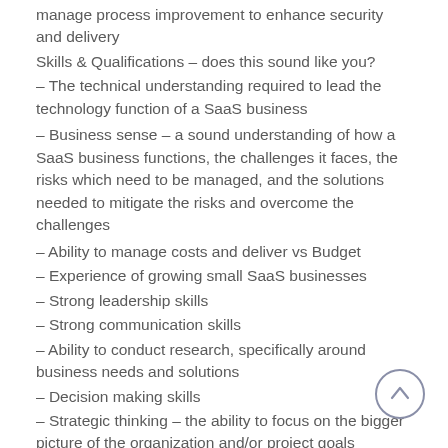manage process improvement to enhance security and delivery
Skills & Qualifications – does this sound like you?
– The technical understanding required to lead the technology function of a SaaS business
– Business sense – a sound understanding of how a SaaS business functions, the challenges it faces, the risks which need to be managed, and the solutions needed to mitigate the risks and overcome the challenges
– Ability to manage costs and deliver vs Budget
– Experience of growing small SaaS businesses
– Strong leadership skills
– Strong communication skills
– Ability to conduct research, specifically around business needs and solutions
– Decision making skills
– Strategic thinking – the ability to focus on the bigger picture of the organization and/or project goals
– Time management – Ability to setup tasks follow...